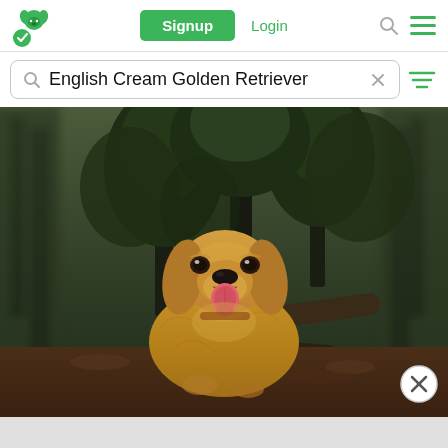[Figure (screenshot): App navigation bar with green dog logo, green Signup button, green Login text, search icon, and hamburger menu icon]
English Cream Golden Retriever
[Figure (photo): A golden retriever dog sitting in a forest with dark green trees and fallen logs in the background, tongue out and smiling, fur is golden/cream colored]